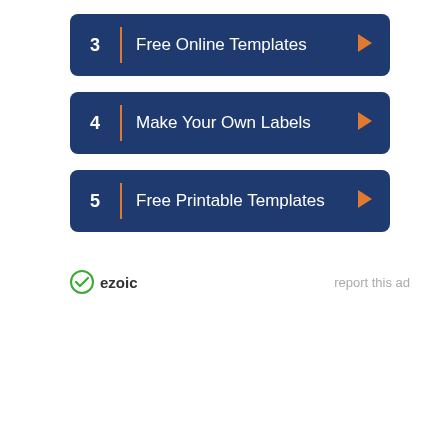3 | Free Online Templates
4 | Make Your Own Labels
5 | Free Printable Templates
[Figure (logo): Ezoic logo with circular checkmark icon and bold text 'ezoic']
report this ad